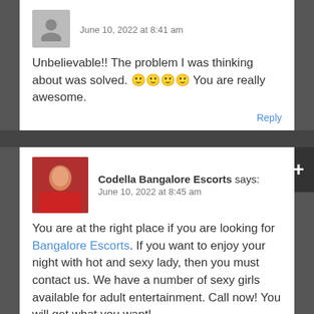June 10, 2022 at 8:41 am
Unbelievable!! The problem I was thinking about was solved. 🙂🙂🙂🙂 You are really awesome.
Reply
Codella Bangalore Escorts says: June 10, 2022 at 8:45 am
You are at the right place if you are looking for Bangalore Escorts. If you want to enjoy your night with hot and sexy lady, then you must contact us. We have a number of sexy girls available for adult entertainment. Call now! You will get what you want!
Reply